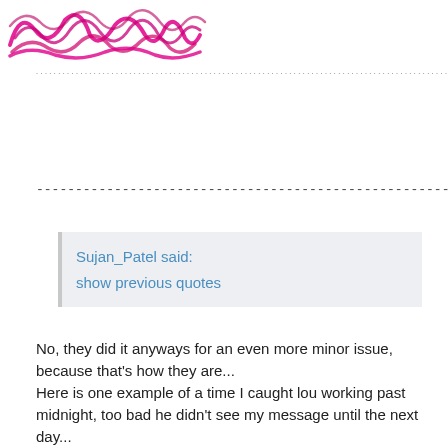[Figure (illustration): Redacted/blurred handwritten text in pink/magenta color at the top of the page]
..........................................................................................................
------------------------------------------------------
Sujan_Patel said:
show previous quotes
No, they did it anyways for an even more minor issue, because that's how they are...
Here is one example of a time I caught lou working past midnight, too bad he didn't see my message until the next day...
But it was solved when I went back to work in the morning...
[Figure (screenshot): Screenshot of a forum or support ticket titled 'Drawings Titleblock Property Updates' showing a post by lougallo with status SOLVED, assigned to lougallo, category Drawings, OS/Platform Windows]